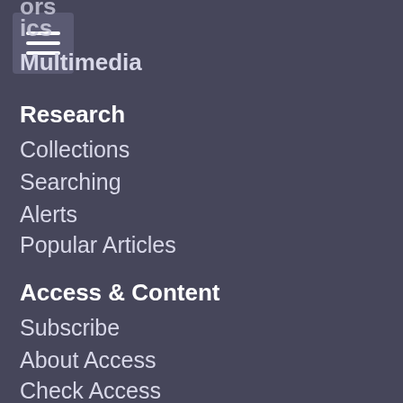Authors
Topics
Multimedia
Research
Collections
Searching
Alerts
Popular Articles
Access & Content
Subscribe
About Access
Check Access
Content
Librarians
FAQs
Publishing Partners
Subscribe
Usage Statistics